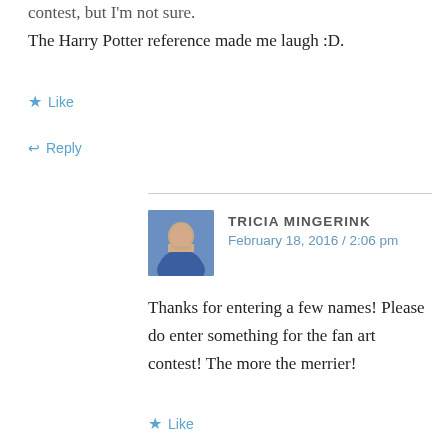contest, but I'm not sure.
The Harry Potter reference made me laugh :D.
Like
Reply
TRICIA MINGERINK
February 18, 2016 / 2:06 pm
Thanks for entering a few names! Please do enter something for the fan art contest! The more the merrier!
Like